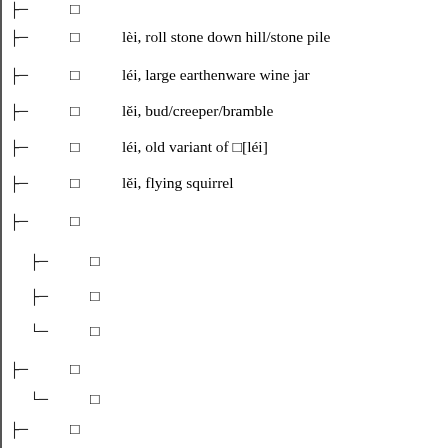lèi, roll stone down hill/stone pile
léi, large earthenware wine jar
lěi, bud/creeper/bramble
léi, old variant of 㝩[léi]
lěi, flying squirrel
[character with sub-tree]
[sub-character 1]
[sub-character 2]
[sub-character 3]
[character with sub-item]
[sub-character]
[character]
[character]
[character]
[character]
[character]